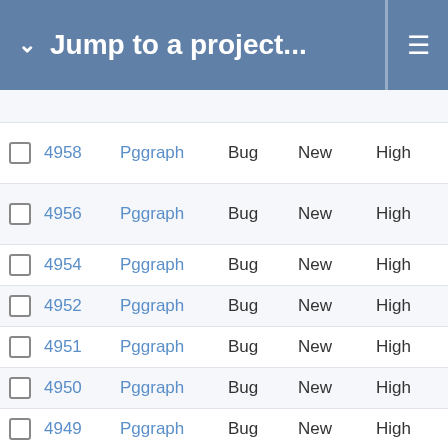Jump to a project...
|  | ID | Project | Type | Status | Priority | Description |
| --- | --- | --- | --- | --- | --- | --- |
|  | 4958 | Pggraph | Bug | New | High | Fix no c with |
|  | 4956 | Pggraph | Bug | New | High | dbr to s 2.2 |
|  | 4954 | Pggraph | Bug | New | High | pgc |
|  | 4952 | Pggraph | Bug | New | High | Hel |
|  | 4951 | Pggraph | Bug | New | High | Doc ran |
|  | 4950 | Pggraph | Bug | New | High | Wri |
|  | 4949 | Pggraph | Bug | New | High | Doc beh |
|  | 4948 | Pggraph | Bug | New | High | in p pre tab |
|  | 4947 | Pggraph | Bug | New | High | Do arr |